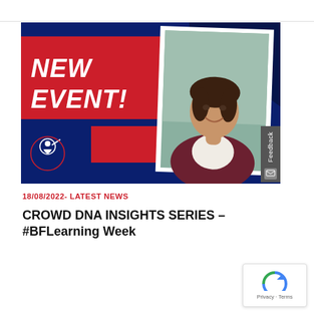[Figure (photo): Promotional banner with dark navy background and red geometric shapes. Text reads 'NEW EVENT!' in white italic bold. A framed photo of a smiling woman in a dark red/maroon cardigan over white blouse is on the right. Bottom-left shows a white conductor silhouette logo. A grey Feedback tab appears on the far right edge.]
18/08/2022- LATEST NEWS
CROWD DNA INSIGHTS SERIES – #BFLearning Week